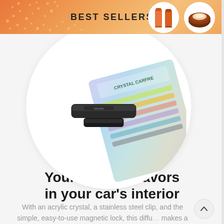BEST SELLERS
[Figure (photo): Crystal Carfresh car air freshener diffuser product shown with packaging box containing color stripe design, and the clip-on device, displayed inside a white circle]
Your favorite flavors in your car's interior
With an acrylic crystal, a stainless steel clip, and the simple, easy-to-use magnetic lock, this diffu makes a glorious and enjoyable addition to you...